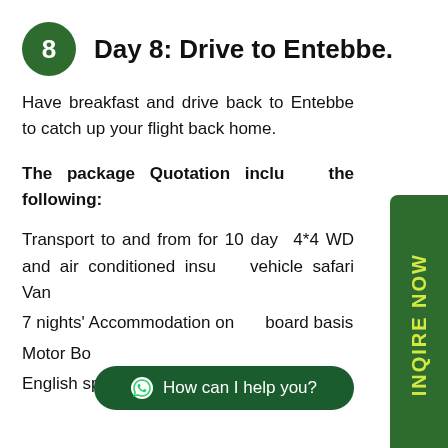Day 8: Drive to Entebbe.
Have breakfast and drive back to Entebbe to catch up your flight back home.
The package Quotation includes the following:
Transport to and from for 10 days 4*4 WD and air conditioned insured vehicle safari Van
7 nights' Accommodation on full board basis
Motor Boat
English speaking local fishing guide